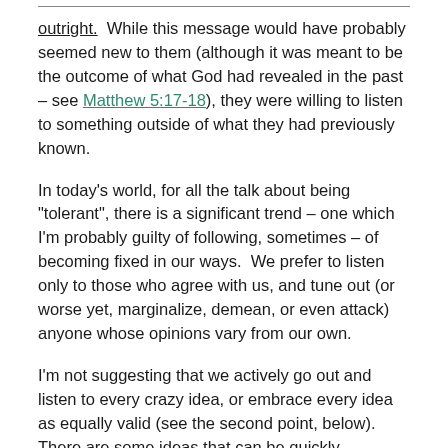outright.  While this message would have probably seemed new to them (although it was meant to be the outcome of what God had revealed in the past – see Matthew 5:17-18), they were willing to listen to something outside of what they had previously known.
In today's world, for all the talk about being "tolerant", there is a significant trend – one which I'm probably guilty of following, sometimes – of becoming fixed in our ways.  We prefer to listen only to those who agree with us, and tune out (or worse yet, marginalize, demean, or even attack) anyone whose opinions vary from our own.
I'm not suggesting that we actively go out and listen to every crazy idea, or embrace every idea as equally valid (see the second point, below).  There are some ideas that can be quickly dismissed as false.  However, rather than